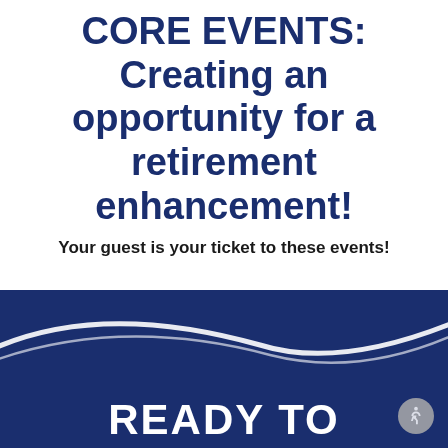CORE EVENTS: Creating an opportunity for a retirement enhancement!
Your guest is your ticket to these events!
No upcoming referral events. Please check back later!
[Figure (illustration): Dark navy blue footer banner with white swoosh/wave decorative lines and the beginning of large white bold text 'READY TO'. An accessibility icon button is in the bottom right corner.]